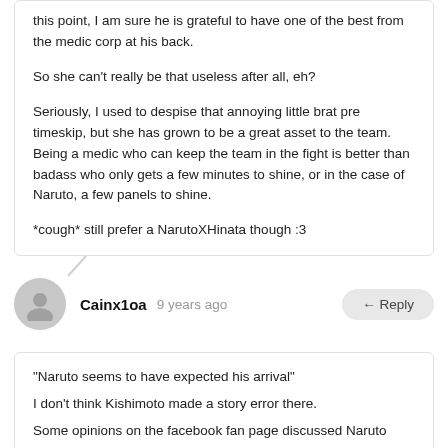this point, I am sure he is grateful to have one of the best from the medic corp at his back.

So she can't really be that useless after all, eh?

Seriously, I used to despise that annoying little brat pre timeskip, but she has grown to be a great asset to the team. Being a medic who can keep the team in the fight is better than badass who only gets a few minutes to shine, or in the case of Naruto, a few panels to shine.

*cough* still prefer a NarutoXHinata though :3
Cainx1oa  9 years ago
← Reply
"Naruto seems to have expected his arrival"
I don't think Kishimoto made a story error there.
Some opinions on the facebook fan page discussed Naruto